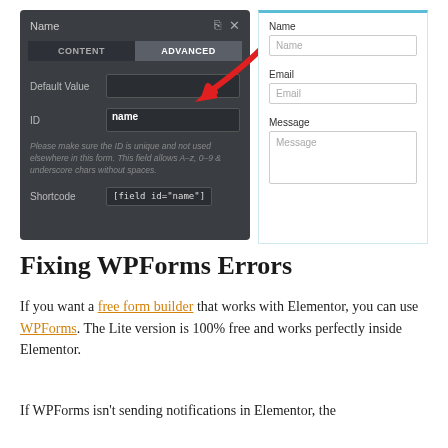[Figure (screenshot): WPForms field editor showing Name field with ADVANCED tab selected, Default Value and ID (set to 'name') fields, a red arrow pointing to the ID field, shortcode [field id="name"], alongside a form preview with Name, Email, and Message fields.]
Fixing WPForms Errors
If you want a free form builder that works with Elementor, you can use WPForms. The Lite version is 100% free and works perfectly inside Elementor.
If WPForms isn't sending notifications in Elementor, the